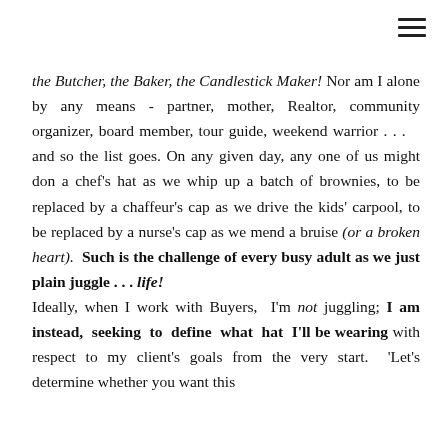the Butcher, the Baker, the Candlestick Maker! Nor am I alone by any means - partner, mother, Realtor, community organizer, board member, tour guide, weekend warrior . . .   and so the list goes. On any given day, any one of us might don a chef's hat as we whip up a batch of brownies, to be replaced by a chaffeur's cap as we drive the kids' carpool, to be replaced by a nurse's cap as we mend a bruise (or a broken heart). Such is the challenge of every busy adult as we just plain juggle . . . life! Ideally, when I work with Buyers,  I'm not juggling; I am instead, seeking to define what hat I'll be wearing with respect to my client's goals from the very start.  'Let's determine whether you want this